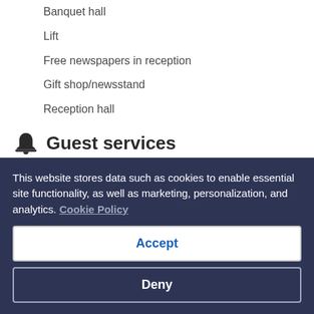Banquet hall
Lift
Free newspapers in reception
Gift shop/newsstand
Reception hall
Guest services
24-hour front desk
Concierge services
Daily housekeeping
Dry-cleaning service
This website stores data such as cookies to enable essential site functionality, as well as marketing, personalization, and analytics. Cookie Policy
Accept
Deny